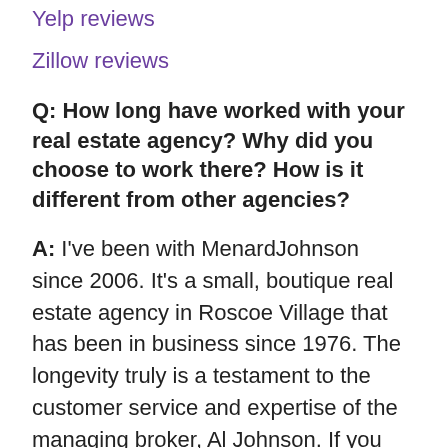Yelp reviews
Zillow reviews
Q: How long have worked with your real estate agency? Why did you choose to work there? How is it different from other agencies?
A: I've been with MenardJohnson since 2006. It's a small, boutique real estate agency in Roscoe Village that has been in business since 1976. The longevity truly is a testament to the customer service and expertise of the managing broker, Al Johnson. If you need to know anything about real estate, ask Al. He has seen Chicago change in unimaginable ways. Because of this experience, he brings a wealth of knowledge to every transaction. I have learned so much from him and continue to learn from him daily.